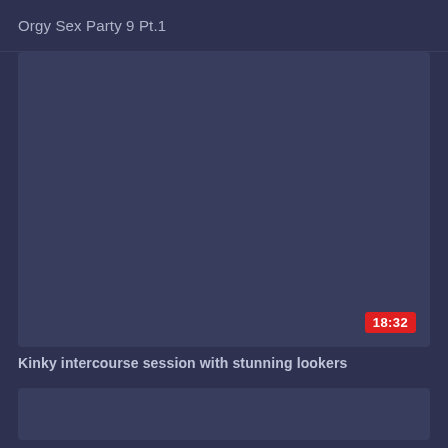Orgy Sex Party 9 Pt.1
[Figure (screenshot): Dark navy/blue-grey video thumbnail placeholder with a red timestamp badge showing 18:32 in the bottom right corner]
Kinky intercourse session with stunning lookers
[Figure (screenshot): Dark navy/blue-grey video thumbnail placeholder, partial view at bottom of page]